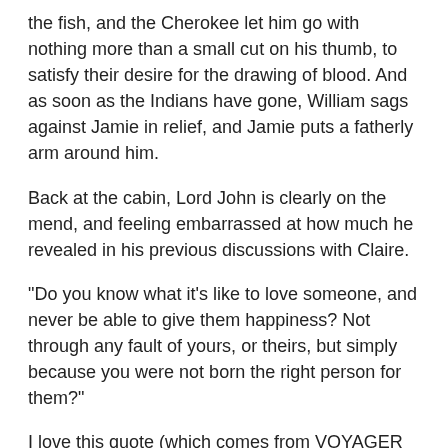the fish, and the Cherokee let him go with nothing more than a small cut on his thumb, to satisfy their desire for the drawing of blood. And as soon as the Indians have gone, William sags against Jamie in relief, and Jamie puts a fatherly arm around him.
Back at the cabin, Lord John is clearly on the mend, and feeling embarrassed at how much he revealed in his previous discussions with Claire.
"Do you know what it's like to love someone, and never be able to give them happiness? Not through any fault of yours, or theirs, but simply because you were not born the right person for them?"
I love this quote (which comes from VOYAGER chapter 59, "In Which Much is Revealed") and I was glad to see it here.
"When you said you have nothing of Jamie, you're